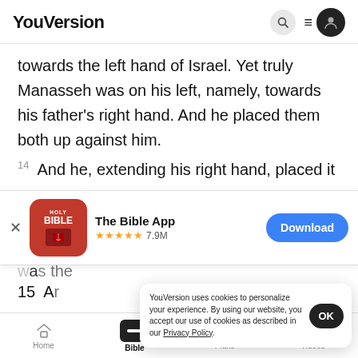YouVersion
towards the left hand of Israel. Yet truly Manasseh was on his left, namely, towards his father's right hand. And he placed them both up against him.
14 And he, extending his right hand, placed it
[Figure (screenshot): App store banner for The Bible App with Holy Bible icon, 5-star rating 7.9M reviews, and Download button]
was the
15 Ar
YouVersion uses cookies to personalize your experience. By using our website, you accept our use of cookies as described in our Privacy Policy.
he said: "God, in whose sight my fathers Abraham
Home  Bible  Plans  Videos